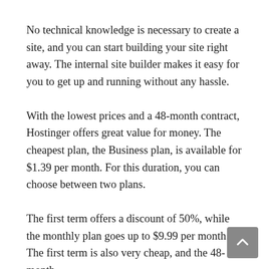No technical knowledge is necessary to create a site, and you can start building your site right away. The internal site builder makes it easy for you to get up and running without any hassle.
With the lowest prices and a 48-month contract, Hostinger offers great value for money. The cheapest plan, the Business plan, is available for $1.39 per month. For this duration, you can choose between two plans.
The first term offers a discount of 50%, while the monthly plan goes up to $9.99 per month. The first term is also very cheap, and the 48-month